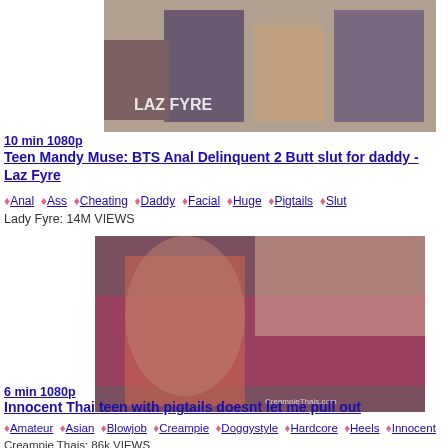[Figure (photo): Video thumbnail showing people in a living room, text overlay 'LAZ FYRE']
10 min 1080p
Teen Mandy Muse: BTS Anal Delinquent 2 Butt slut for daddy - Laz Fyre
♦Anal ♦Ass ♦Cheating ♦Daddy ♦Facial ♦Huge ♦Pigtails ♦Slut
Lady Fyre: 14M VIEWS
[Figure (photo): Video thumbnail showing a woman in fishnet stockings, watermark 'CreampieThais.com']
6 min 1080p
Innocent Thai teen with pigtails doesnt let me pull out
♦Amateur ♦Asian ♦Blowjob ♦Creampie ♦Doggystyle ♦Hardcore ♦Heels ♦Innocent Creampie Thais: 86k VIEWS